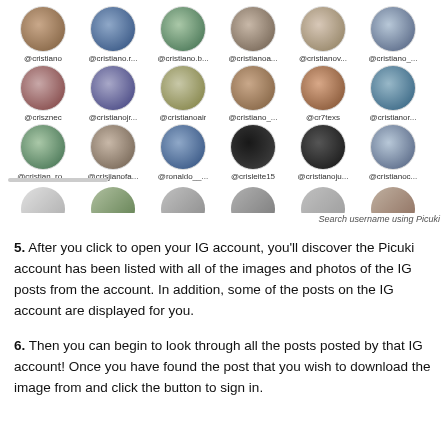[Figure (screenshot): Screenshot of Picuki username search results showing a grid of Instagram profile photos and usernames including @cristiano, @cristiano.r..., @cristiano.b..., @cristianoa..., @cristianov..., @cristiano_..., @crisznec, @cristianojr..., @cristianoair, @cristiano_..., @cr7texs, @cristianor..., @cristian_ro..., @crisjianofa..., @ronaldo__..., @crisleite15, @cristianoju..., @cristianoc..., with caption 'Search username using Picuki']
5. After you click to open your IG account, you'll discover the Picuki account has been listed with all of the images and photos of the IG posts from the account. In addition, some of the posts on the IG account are displayed for you.
6. Then you can begin to look through all the posts posted by that IG account! Once you have found the post that you wish to download the image from and click the button to sign in.